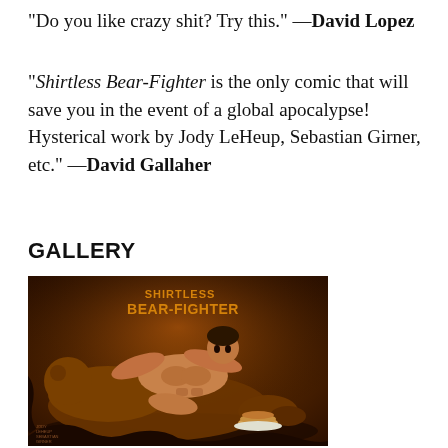“Do you like crazy shit? Try this.” —David Lopez
“Shirtless Bear-Fighter is the only comic that will save you in the event of a global apocalypse! Hysterical work by Jody LeHeup, Sebastian Girner, etc.” —David Gallaher
GALLERY
[Figure (illustration): Comic book cover for Shirtless Bear-Fighter showing a muscular shirtless man wrestling a bear on the ground, rendered in brown/sepia tones. Title text 'SHIRTLESS BEAR-FIGHTER' visible at top.]